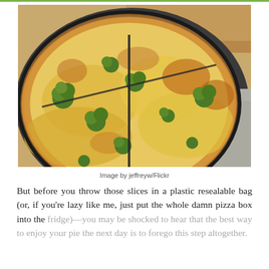[Figure (photo): Broccoli and cheese pizza slices on a dark round pan, with a wooden cutting board visible in the background.]
Image by jeffreyw/Flickr
But before you throw those slices in a plastic resealable bag (or, if you're lazy like me, just put the whole damn pizza box into the fridge)—you may be shocked to hear that the best way to enjoy your pie the next day is to forego this step altogether.